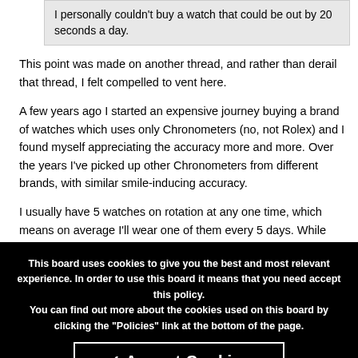I personally couldn't buy a watch that could be out by 20 seconds a day.
This point was made on another thread, and rather than derail that thread, I felt compelled to vent here.
A few years ago I started an expensive journey buying a brand of watches which uses only Chronometers (no, not Rolex) and I found myself appreciating the accuracy more and more. Over the years I've picked up other Chronometers from different brands, with similar smile-inducing accuracy.
I usually have 5 watches on rotation at any one time, which means on average I'll wear one of them every 5 days. While some non-COSC movements do indeed perform perfectly well, I have had Sellita & ETA movements running at +/- 30 spd (usually -30 I recall), which is
This board uses cookies to give you the best and most relevant experience. In order to use this board it means that you need accept this policy. You can find out more about the cookies used on this board by clicking the "Policies" link at the bottom of the page.
✓ Accept Cookies